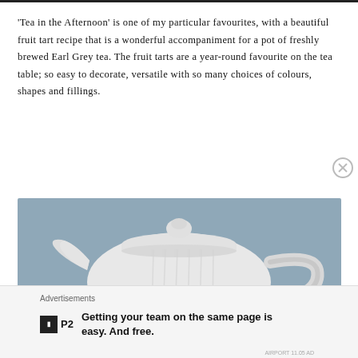'Tea in the Afternoon' is one of my particular favourites, with a beautiful fruit tart recipe that is a wonderful accompaniment for a pot of freshly brewed Earl Grey tea. The fruit tarts are a year-round favourite on the tea table; so easy to decorate, versatile with so many choices of colours, shapes and fillings.
[Figure (photo): A white ceramic teapot photographed from the front against a muted blue-grey background. The teapot has vertical ribbing and a rounded lid with a small knob on top.]
Advertisements
P2 — Getting your team on the same page is easy. And free.